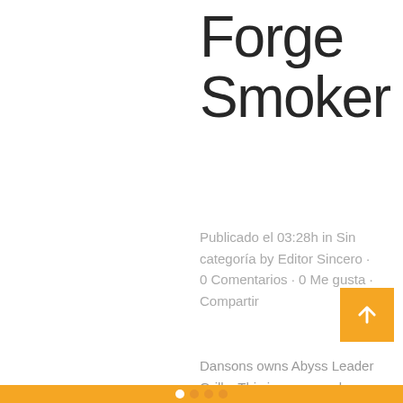Forge Smoker
Publicado el 03:28h in Sin categoría by Editor Sincero · 0 Comentarios · 0 Me gusta · Compartir
Dansons owns Abyss Leader Grills. This is a rare and sought-after feature in the world of pellet grills relatively. • NeVer operate the smoke enthusiast without normal water found in the normal water pan. Because the Master Forge is available only in Lowe's, their power people who smoke tend to be not